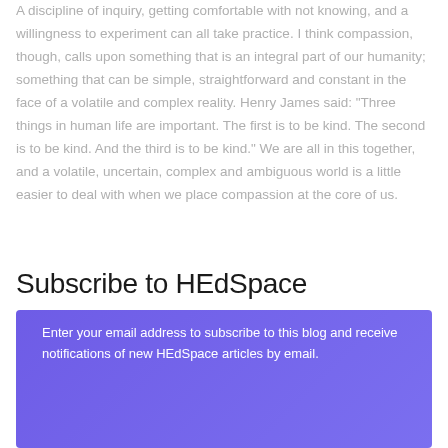A discipline of inquiry, getting comfortable with not knowing, and a willingness to experiment can all take practice. I think compassion, though, calls upon something that is an integral part of our humanity; something that can be simple, straightforward and constant in the face of a volatile and complex reality. Henry James said: "Three things in human life are important. The first is to be kind. The second is to be kind. And the third is to be kind." We are all in this together, and a volatile, uncertain, complex and ambiguous world is a little easier to deal with when we place compassion at the core of us.
Subscribe to HEdSpace
Enter your email address to subscribe to this blog and receive notifications of new HEdSpace articles by email.